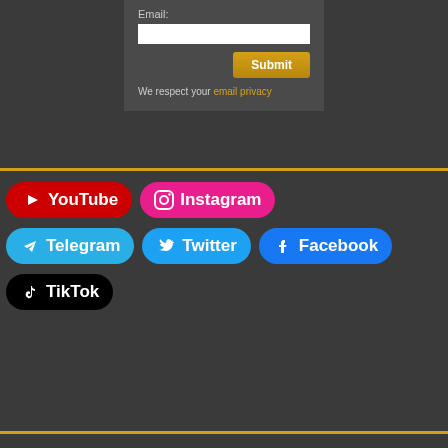Email:
We respect your email privacy
[Figure (infographic): Social media buttons: YouTube (red), Instagram (pink/magenta), Telegram (light blue), Twitter (blue), Facebook (blue), TikTok (black)]